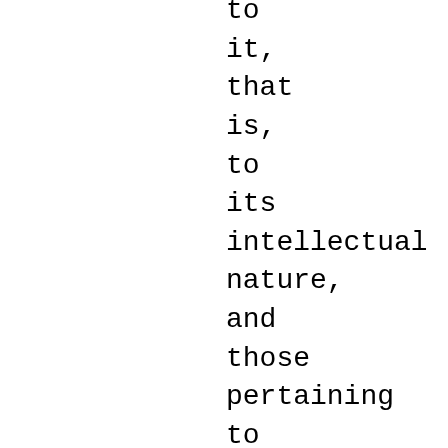to it, that is, to its intellectual nature, and those pertaining to the body. However, since at this point some people may